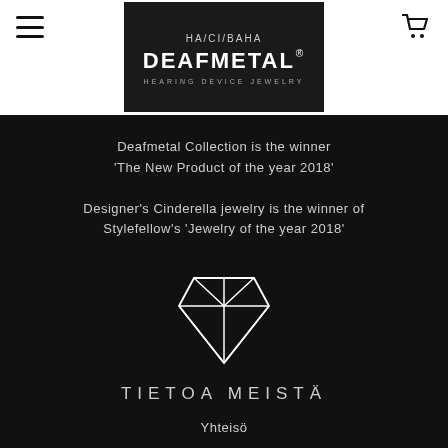HA/CI/BAHA DEAFMETAL® HEARING DEVICE JEWELRY
Deafmetal Collection is the winner 'The New Product of the year 2018'
Designer's Cinderella jewelry is the winner of Stylefellow's 'Jewelry of the year 2018'
[Figure (illustration): Outline diamond gem icon in white on black background]
TIETOA MEISTÄ
Yhteisö
Jälleenmyyjät
Ota yhteyttä